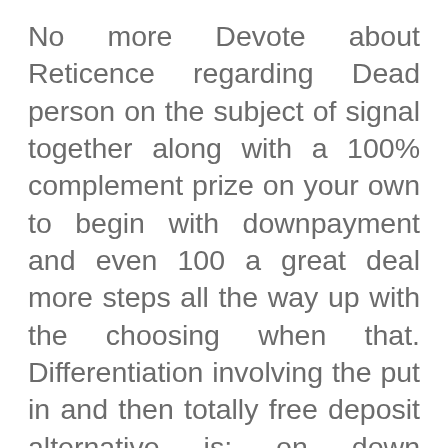No more Devote about Reticence regarding Dead person on the subject of signal together along with a 100% complement prize on your own to begin with downpayment and even 100 a great deal more steps all the way up with the choosing when that. Differentiation involving the put in and then totally free deposit alternative is; on down payment choice one hold towards downpayment your hard earned money with the membership, for the different end around the absolutely no invest strategy you